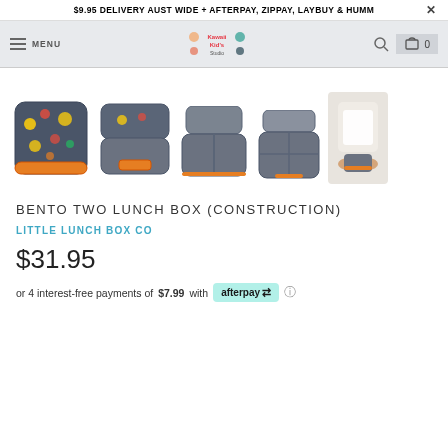$9.95 DELIVERY AUST WIDE + AFTERPAY, ZIPPAY, LAYBUY & HUMM
MENU [logo] [search] [cart] 0
[Figure (photo): Five product images of a grey and orange bento lunchbox (Construction theme): closed with stickers, open showing orange latch, open from above showing empty compartments, open showing 4 compartments, and a lifestyle photo of hands using the lunchbox.]
BENTO TWO LUNCH BOX (CONSTRUCTION)
LITTLE LUNCH BOX CO
$31.95
or 4 interest-free payments of $7.99 with afterpay